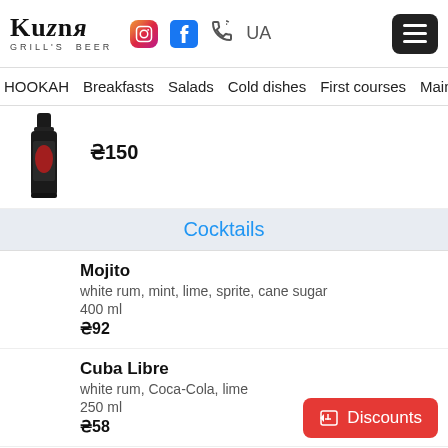Kuzня Grill's Beer — logo and navigation icons: Instagram, Facebook, phone, UA, hamburger menu
HOOKAH  Breakfasts  Salads  Cold dishes  First courses  Main hot d
[Figure (photo): Dark wine/spirits bottle with red label]
₴150
Cocktails
Mojito
white rum, mint, lime, sprite, cane sugar
400 ml
₴92
Cuba Libre
white rum, Coca-Cola, lime
250 ml
₴58
Jaeger Monster